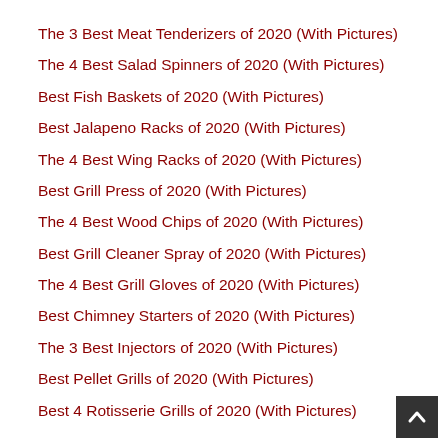The 3 Best Meat Tenderizers of 2020 (With Pictures)
The 4 Best Salad Spinners of 2020 (With Pictures)
Best Fish Baskets of 2020 (With Pictures)
Best Jalapeno Racks of 2020 (With Pictures)
The 4 Best Wing Racks of 2020 (With Pictures)
Best Grill Press of 2020 (With Pictures)
The 4 Best Wood Chips of 2020 (With Pictures)
Best Grill Cleaner Spray of 2020 (With Pictures)
The 4 Best Grill Gloves of 2020 (With Pictures)
Best Chimney Starters of 2020 (With Pictures)
The 3 Best Injectors of 2020 (With Pictures)
Best Pellet Grills of 2020 (With Pictures)
Best 4 Rotisserie Grills of 2020 (With Pictures)